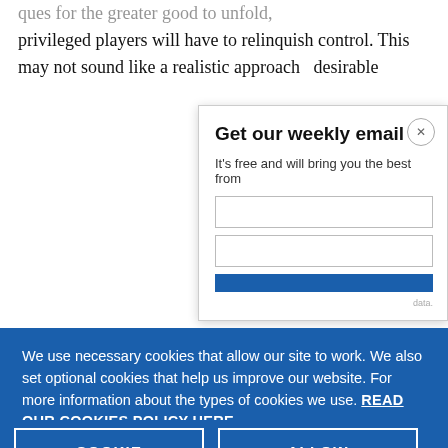privileged players will have to relinquish control. This may not sound like a realistic approach desirable
Get our weekly email
It's free and will bring you the best from
We use necessary cookies that allow our site to work. We also set optional cookies that help us improve our website. For more information about the types of cookies we use. READ OUR COOKIES POLICY HERE
COOKIE SETTINGS
ALLOW ALL COOKIES
data.
unfurled